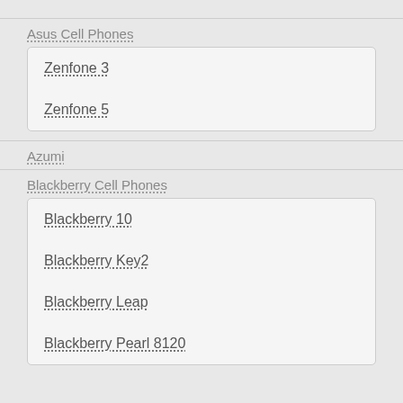Asus Cell Phones
Zenfone 3
Zenfone 5
Azumi
Blackberry Cell Phones
Blackberry 10
Blackberry Key2
Blackberry Leap
Blackberry Pearl 8120